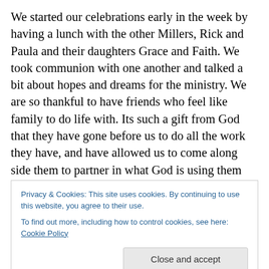We started our celebrations early in the week by having a lunch with the other Millers, Rick and Paula and their daughters Grace and Faith. We took communion with one another and talked a bit about hopes and dreams for the ministry. We are so thankful to have friends who feel like family to do life with. Its such a gift from God that they have gone before us to do all the work they have, and have allowed us to come along side them to partner in what God is using them for. This month they will have bible stories being told on the radio in a couple different languages people here speak. This is a huge way to reach
Privacy & Cookies: This site uses cookies. By continuing to use this website, you agree to their use.
To find out more, including how to control cookies, see here: Cookie Policy
Close and accept
cases. There will also be a weekly call in time for people to